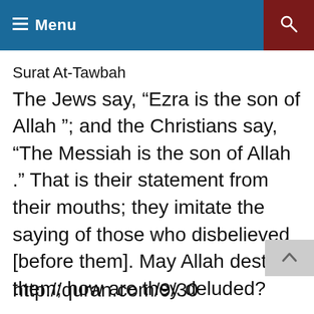Menu
Surat At-Tawbah
The Jews say, “Ezra is the son of Allah ”; and the Christians say, “The Messiah is the son of Allah .” That is their statement from their mouths; they imitate the saying of those who disbelieved [before them]. May Allah destroy them; how are they deluded?
http://quran.com/9/30